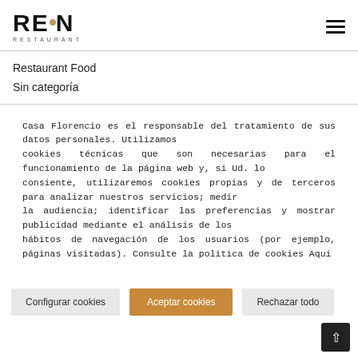[Figure (logo): REON RESTAURANT logo with golden circle dot in letter O]
Restaurant Food
Sin categoría
Casa Florencio es el responsable del tratamiento de sus datos personales. Utilizamos cookies técnicas que son necesarias para el funcionamiento de la página web y, si Ud. lo consiente, utilizaremos cookies propias y de terceros para analizar nuestros servicios; medir la audiencia; identificar las preferencias y mostrar publicidad mediante el análisis de los hábitos de navegación de los usuarios (por ejemplo, páginas visitadas). Consulte la politica de cookies Aquí
Configurar cookies | Aceptar cookies | Rechazar todo